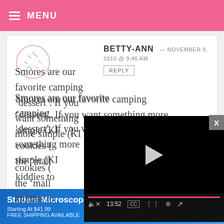MENU
BETTY-ANN — NOVEMBER 8, 2010 @ 9:46 AM
REPLY
Smores are our favorite camping ‘dessert’. If you want something more simple (KISS), you’d want to try the ‘mall o’ kiddies to
[Figure (screenshot): Video player overlay showing paused video with play button, progress bar, and controls showing 13:52 timestamp]
[Figure (illustration): Advertisement banner for Student Microscope Bundles starting at $41.99 with free shipping available, with microscope image on right]